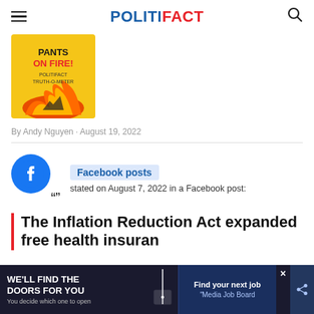POLITIFACT
[Figure (illustration): Pants on Fire! PolitiFact Truth-O-Meter badge with flames, yellow background]
By Andy Nguyen · August 19, 2022
[Figure (logo): Facebook logo - blue circle with white f]
Facebook posts stated on August 7, 2022 in a Facebook post:
The Inflation Reduction Act expanded free health insuran
[Figure (infographic): Advertisement banner: WE'LL FIND THE DOORS FOR YOU - You decide which one to open - Find your next job - Media Job Board]